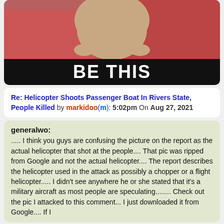[Figure (photo): Partial photo of an animal near a red/pink surface, with a black bar overlaid at the bottom showing the text 'BE THIS' in large white bold letters.]
Re: Helicopter Shoots Passenger Boat In Rivers State, People Killed by markidoo(m): 5:02pm On Aug 27, 2021
generalwo: ..... I think you guys are confusing the picture on the report as the actual helicopter that shot at the people.... That pic was ripped from Google and not the actual helicopter.... The report describes the helicopter used in the attack as possibly a chopper or a flight helicopter..... I didn't see anywhere he or she stated that it's a military aircraft as most people are speculating........ Check out the pic I attacked to this comment... I just downloaded it from Google.... If I